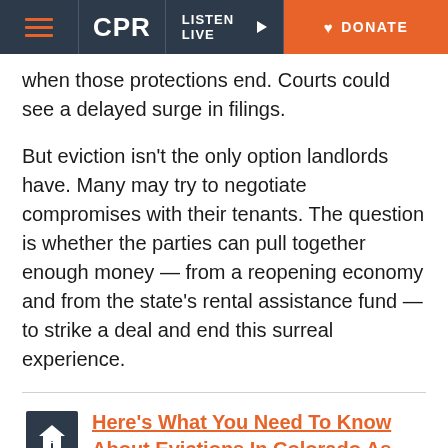CPR | LISTEN LIVE | DONATE
when those protections end. Courts could see a delayed surge in filings.
But eviction isn't the only option landlords have. Many may try to negotiate compromises with their tenants. The question is whether the parties can pull together enough money — from a reopening economy and from the state's rental assistance fund — to strike a deal and end this surreal experience.
Here's What You Need To Know About Evictions In Colorado As Protections Look Likely To Change